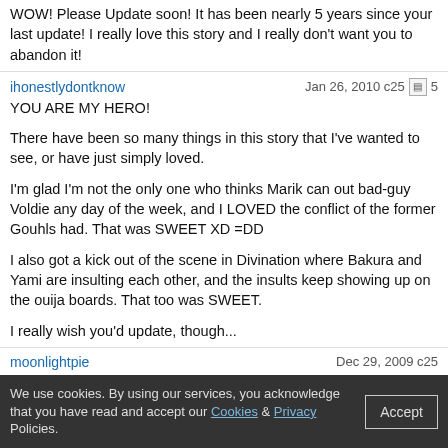WOW! Please Update soon! It has been nearly 5 years since your last update! I really love this story and I really don't want you to abandon it!
ihonestlydontknow | Jan 26, 2010 c25 | 5
YOU ARE MY HERO!

There have been so many things in this story that I've wanted to see, or have just simply loved.

I'm glad I'm not the only one who thinks Marik can out bad-guy Voldie any day of the week, and I LOVED the conflict of the former Gouhls had. That was SWEET XD =DD

I also got a kick out of the scene in Divination where Bakura and Yami are insulting each other, and the insults keep showing up on the ouija boards. That too was SWEET.

I really wish you'd update, though...
moonlightpie | Dec 29, 2009 c25
This was awesome story (so far), I really enjoyed reading it. One of the best YGO/HP crossovers I've read. You kept characters alive and real and they actually did something. This was so worth of reading, but it is so shame that if you will not finish this. (I mean, I'd LOVE to read what would happen next.) I wonder why almost every YGO/HP crossover will be left unfinished. :o
We use cookies. By using our services, you acknowledge that you have read and accept our Cookies & Privacy Policies.